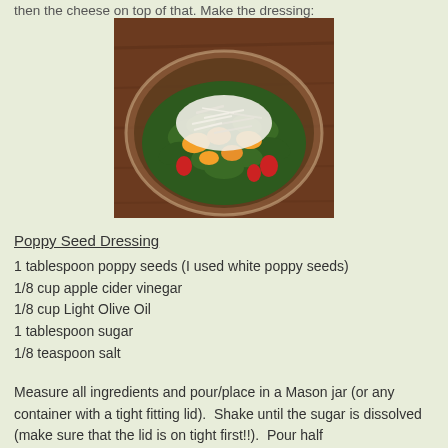then the cheese on top of that. Make the dressing:
[Figure (photo): A salad in a clear glass bowl on a wooden surface, with dark leafy greens (arugula/spinach), orange fruit chunks, red strawberries, and shredded white cheese on top.]
Poppy Seed Dressing
1 tablespoon poppy seeds (I used white poppy seeds)
1/8 cup apple cider vinegar
1/8 cup Light Olive Oil
1 tablespoon sugar
1/8 teaspoon salt
Measure all ingredients and pour/place in a Mason jar (or any container with a tight fitting lid).  Shake until the sugar is dissolved (make sure that the lid is on tight first!!).  Pour half